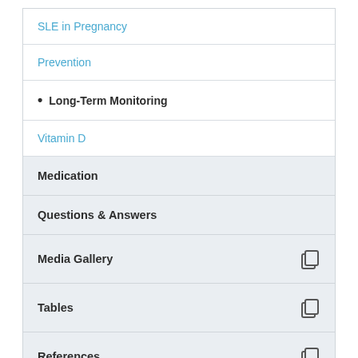SLE in Pregnancy
Prevention
Long-Term Monitoring
Vitamin D
Medication
Questions & Answers
Media Gallery
Tables
References